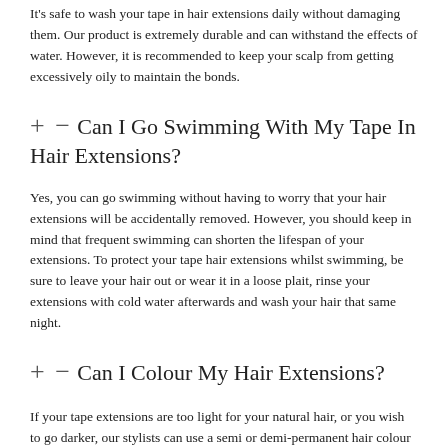It's safe to wash your tape in hair extensions daily without damaging them. Our product is extremely durable and can withstand the effects of water. However, it is recommended to keep your scalp from getting excessively oily to maintain the bonds.
+ − Can I Go Swimming With My Tape In Hair Extensions?
Yes, you can go swimming without having to worry that your hair extensions will be accidentally removed. However, you should keep in mind that frequent swimming can shorten the lifespan of your extensions. To protect your tape hair extensions whilst swimming, be sure to leave your hair out or wear it in a loose plait, rinse your extensions with cold water afterwards and wash your hair that same night.
+ − Can I Colour My Hair Extensions?
If your tape extensions are too light for your natural hair, or you wish to go darker, our stylists can use a semi or demi-permanent hair colour to